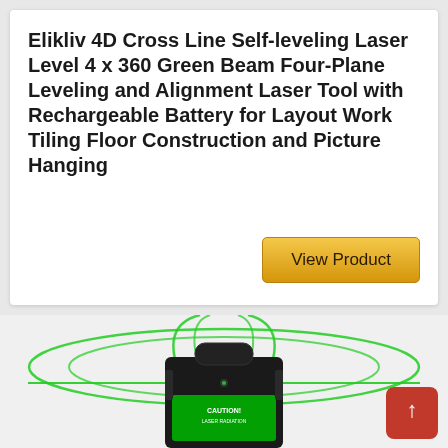Elikliv 4D Cross Line Self-leveling Laser Level 4 x 360 Green Beam Four-Plane Leveling and Alignment Laser Tool with Rechargeable Battery for Layout Work Tiling Floor Construction and Picture Hanging
View Product
[Figure (photo): Elikliv 4D cross line self-leveling laser level device shown emitting green laser beams in multiple 360-degree planes, sitting on a surface. A red scroll-to-top button is visible in the bottom right corner.]